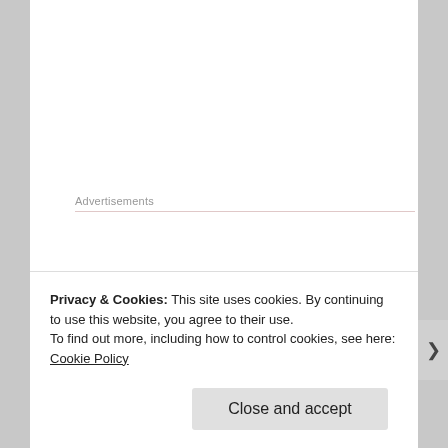Advertisements
“Not as eventful as yours. My trials are going to begin soon. We were given the ok yesterday. We are already three weeks behind in our cycle.” Maya’s specialty lay in Alzheimer’s disease, and it was a subject that was close to her heart. But the research trials also meant that she was going to be
Privacy & Cookies: This site uses cookies. By continuing to use this website, you agree to their use.
To find out more, including how to control cookies, see here: Cookie Policy
Close and accept